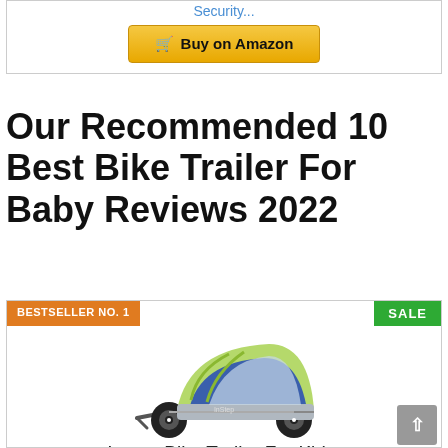Security...
Buy on Amazon
Our Recommended 10 Best Bike Trailer For Baby Reviews 2022
BESTSELLER NO. 1
SALE
[Figure (photo): Instep bike trailer for kids - green and blue double bike trailer with black wheels and hitch arm]
Instep Bike Trailer For Kids,
Single And Double, Seat...